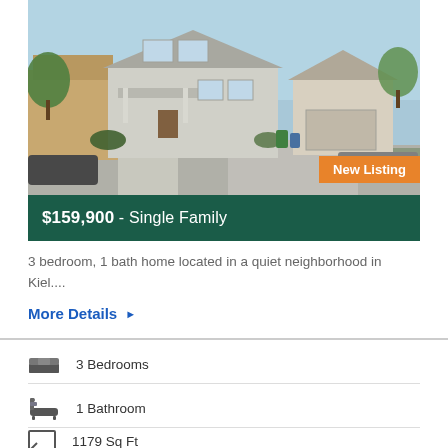[Figure (photo): Exterior photo of a single-family home with white/gray siding, front porch, green lawn, and driveway. A 'New Listing' orange badge is in the bottom-right corner.]
$159,900 - Single Family
3 bedroom, 1 bath home located in a quiet neighborhood in Kiel....
More Details ▶
3 Bedrooms
1 Bathroom
1179 Sq Ft